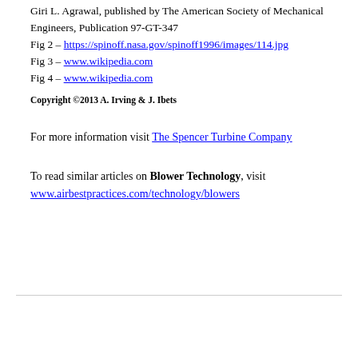Giri L. Agrawal, published by The American Society of Mechanical Engineers, Publication 97-GT-347
Fig 2 – https://spinoff.nasa.gov/spinoff1996/images/114.jpg
Fig 3 – www.wikipedia.com
Fig 4 – www.wikipedia.com
Copyright ©2013 A. Irving & J. Ibets
For more information visit The Spencer Turbine Company
To read similar articles on Blower Technology, visit www.airbestpractices.com/technology/blowers